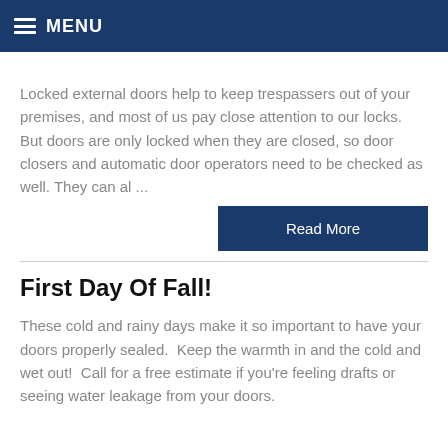MENU
Locked external doors help to keep trespassers out of your premises, and most of us pay close attention to our locks. But doors are only locked when they are closed, so door closers and automatic door operators need to be checked as well. They can al ...
[Figure (other): Read More button - dark blue rectangular button with white text]
First Day Of Fall!
These cold and rainy days make it so important to have your doors properly sealed.  Keep the warmth in and the cold and wet out!  Call for a free estimate if you're feeling drafts or seeing water leakage from your doors.